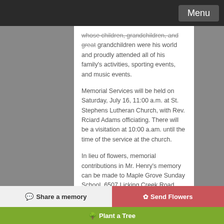Menu
whose children, grandchildren, and great grandchildren were his world and proudly attended all of his family's activities, sporting events, and music events.
Memorial Services will be held on Saturday, July 16, 11:00 a.m. at St. Stephens Lutheran Church, with Rev. Rciard Adams officiating. There will be a visitation at 10:00 a.am. until the time of the service at the church.
In lieu of flowers, memorial contributions in Mr. Henry's memory can be made to Maple Grove Sunday School, 6507 Licking Creek Road, Mifflintown, PA 17059.
Arrangements have been entrusted to
Share a memory
Send Flowers
Plant a Tree